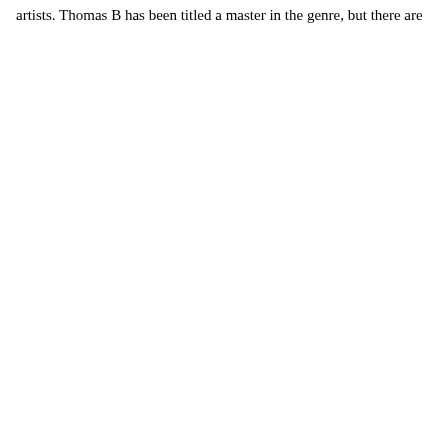artists. Thomas B has been titled a master in the genre, but there are